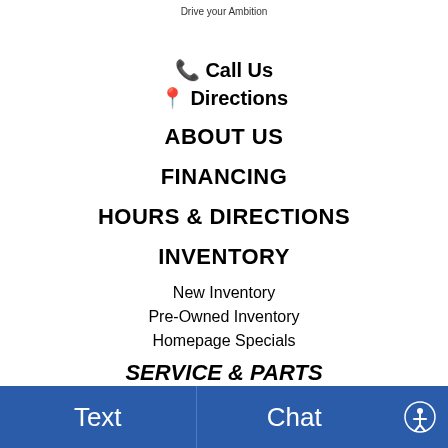Drive your Ambition
Call Us
Directions
ABOUT US
FINANCING
HOURS & DIRECTIONS
INVENTORY
New Inventory
Pre-Owned Inventory
Homepage Specials
SERVICE & PARTS
We use cookies to optimize our website and our service.
Cookie Policy  Privacy Statement
Your web browser (iOS 11) is out of date. Update your browser for more security, speed and
Text
Chat